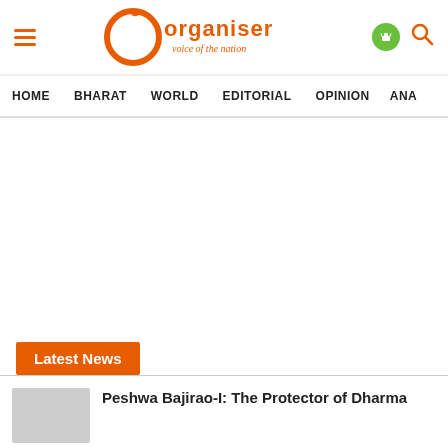[Figure (logo): Organiser - Voice of the Nation logo with orange O and text, hamburger menu, Android and search icons in header]
HOME  BHARAT  WORLD  EDITORIAL  OPINION  ANA
Latest News
Peshwa Bajirao-I: The Protector of Dharma